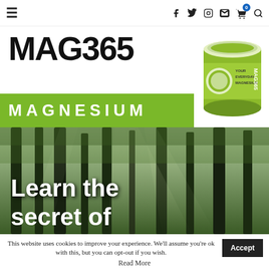Navigation bar with hamburger menu, social icons (facebook, twitter, instagram, mail), cart with badge 0, and search icon
[Figure (logo): MAG365 Magnesium brand logo with large bold MAG365 text in black and a green MAGNESIUM bar, with a product tub image on the right showing MAG365 branded green/white supplement container]
[Figure (photo): Forest scene with tall trees and light rays filtering through, overlaid with white bold text reading 'Learn the secret of']
This website uses cookies to improve your experience. We'll assume you're ok with this, but you can opt-out if you wish.
Accept
Read More